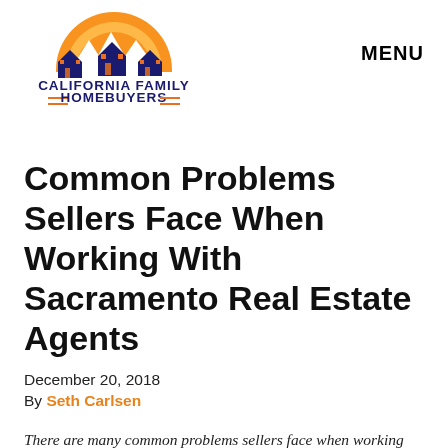[Figure (logo): California Family Homebuyers logo with orange semicircle sun, white mountain peaks and dark blue house silhouettes, text 'California Family Homebuyers' below]
MENU
Common Problems Sellers Face When Working With Sacramento Real Estate Agents
December 20, 2018
By Seth Carlsen
There are many common problems sellers face when working with real estate agents in